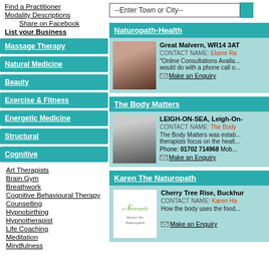Find a Practitioner
Modality Descriptions
Share on Facebook
List your Business
Massage Therapy
Natural Medicine
Beauty
Exercise & Fitness
Energetic Medicine
Structural
Cognitive
Art Therapists
Brain Gym
Breathwork
Cognitive Behavioural Therapy
Counselling
Hypnobirthing
Hypnotherapist
Life Coaching
Meditation
Mindfulness
--Enter Town or City--
Naturopath-Health — Great Malvern, WR14 3AT — CONTACT NAME: Elaine Ra... — Online Consultations Available... would do with a phone call o... — Make an Enquiry
The Body Matters — LEIGH-ON-SEA, Leigh-On-... — CONTACT NAME: The Body... — The Body Matters was estab... therapists focus on the healt... — Phone: 01702 714968 Mob... — Make an Enquiry
Karen The Naturopath — Cherry Tree Rise, Buckhur... — CONTACT NAME: Karen Ha... — How the body uses the food... — Make an Enquiry